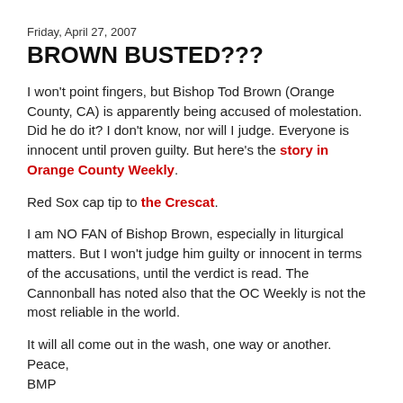Friday, April 27, 2007
BROWN BUSTED???
I won't point fingers, but Bishop Tod Brown (Orange County, CA) is apparently being accused of molestation. Did he do it? I don't know, nor will I judge. Everyone is innocent until proven guilty. But here's the story in Orange County Weekly.
Red Sox cap tip to the Crescat.
I am NO FAN of Bishop Brown, especially in liturgical matters. But I won't judge him guilty or innocent in terms of the accusations, until the verdict is read. The Cannonball has noted also that the OC Weekly is not the most reliable in the world.
It will all come out in the wash, one way or another.
Peace,
BMP